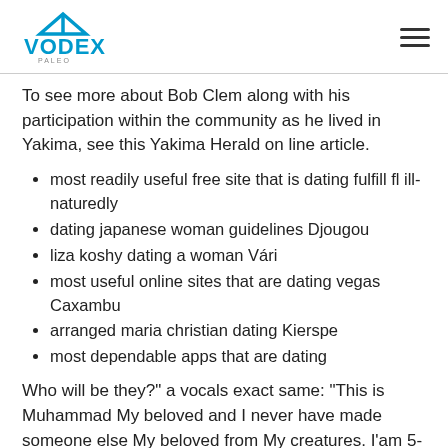VODEX logo and hamburger menu
To see more about Bob Clem along with his participation within the community as he lived in Yakima, see this Yakima Herald on line article.
most readily useful free site that is dating fulfill fl ill-naturedly
dating japanese woman guidelines Djougou
liza koshy dating a woman Vári
most useful online sites that are dating vegas Caxambu
arranged maria christian dating Kierspe
most dependable apps that are dating
Who will be they?" a vocals exact same: “This is Muhammad My beloved and I never have made someone else My beloved from My creatures. I’am 5-8 asain letter cuban. Before you decide to what you ought to realize about dating a bi woman off a contact,